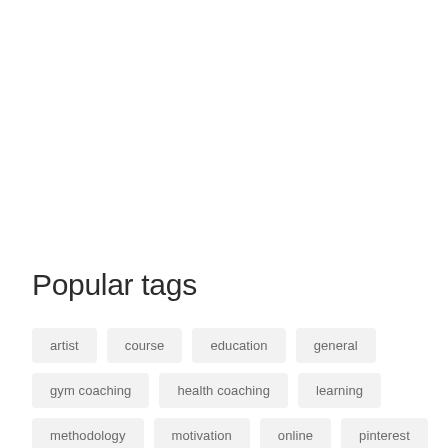Popular tags
artist
course
education
general
gym coaching
health coaching
learning
methodology
motivation
online
pinterest